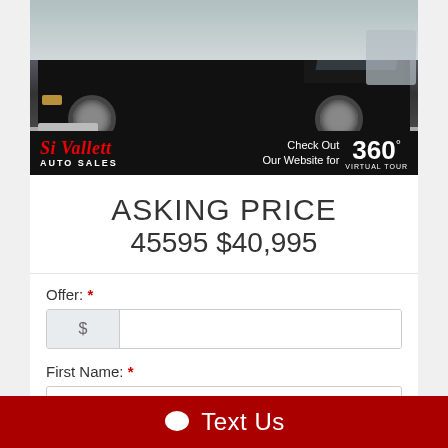[Figure (photo): Black pickup truck (Chevrolet Silverado) parked in a dealer lot, photographed from the front-left angle. Below the photo is a dealer banner showing 'Si Vallett AUTO SALES' logo in red italic on black background, with 'Check Out Our Website for 360° VIRTUAL TOUR' text on the right.]
ASKING PRICE
45595 $40,995
Offer: *
First Name: *
Text Us